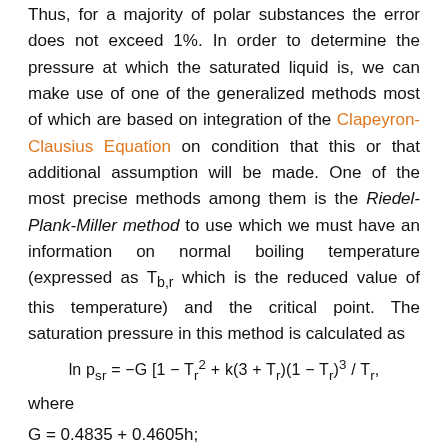Thus, for a majority of polar substances the error does not exceed 1%. In order to determine the pressure at which the saturated liquid is, we can make use of one of the generalized methods most of which are based on integration of the Clapeyron-Clausius Equation on condition that this or that additional assumption will be made. One of the most precise methods among them is the Riedel-Plank-Miller method to use which we must have an information on normal boiling temperature (expressed as Tb,r which is the reduced value of this temperature) and the critical point. The saturation pressure in this method is calculated as
where
G = 0.4835 + 0.4605h;